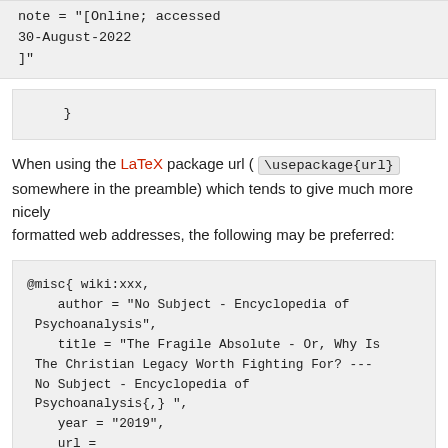note = "[Online; accessed 30-August-2022 ]"
}
When using the LaTeX package url ( \usepackage{url} somewhere in the preamble) which tends to give much more nicely formatted web addresses, the following may be preferred:
@misc{ wiki:xxx,
    author = "No Subject - Encyclopedia of Psychoanalysis",
    title = "The Fragile Absolute - Or, Why Is The Christian Legacy Worth Fighting For? --- No Subject - Encyclopedia of Psychoanalysis{,} ",
    year = "2019",
    url =
"\url{https://nosubject.com/index.php?